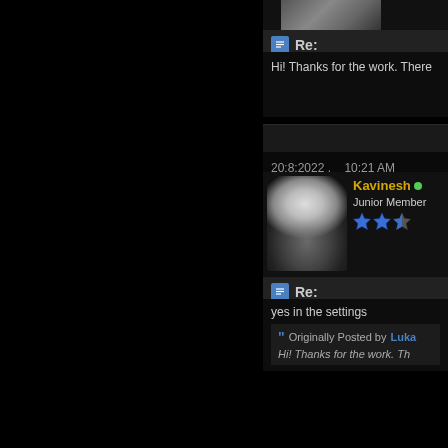[Figure (photo): Forum user avatar photo - two people, partially visible at top]
Re:
Hi! Thanks for the work. There
20:8:2022 ,    10:21 AM
[Figure (photo): Forum profile photo - hooded figure in dark/shadow]
Kavinesh • Junior Member ⭐⭐
Re:
yes in the settings
Originally Posted by Luka
Hi! Thanks for the work. Th